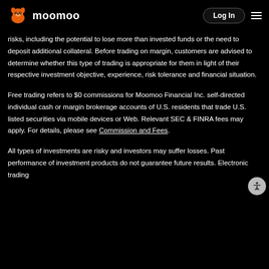moomoo | Log In
risks, including the potential to lose more than invested funds or the need to deposit additional collateral. Before trading on margin, customers are advised to determine whether this type of trading is appropriate for them in light of their respective investment objective, experience, risk tolerance and financial situation.
Free trading refers to $0 commissions for Moomoo Financial Inc. self-directed individual cash or margin brokerage accounts of U.S. residents that trade U.S. listed securities via mobile devices or Web. Relevant SEC & FINRA fees may apply. For details, please see Commission and Fees.
All types of investments are risky and investors may suffer losses. Past performance of investment products do not guarantee future results. Electronic trading...